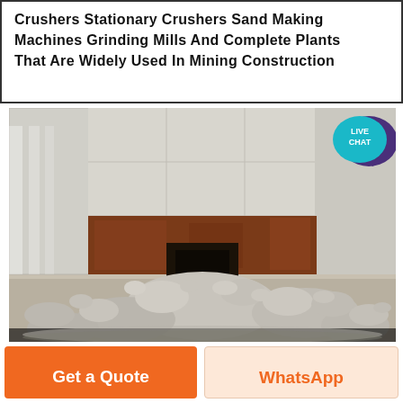Crushers Stationary Crushers Sand Making Machines Grinding Mills And Complete Plants That Are Widely Used In Mining Construction
[Figure (photo): Industrial crusher pit showing large broken rocks and crushed stone debris piled against concrete walls with rust-stained steel plate lining]
Get a Quote
WhatsApp